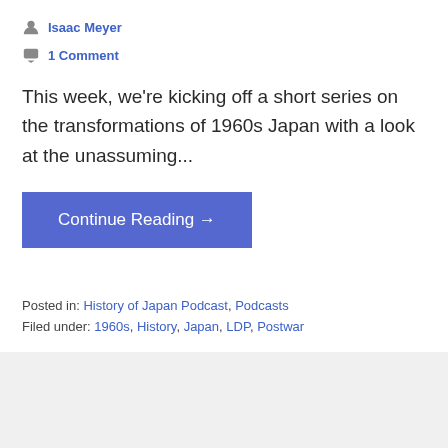Isaac Meyer
1 Comment
This week, we're kicking off a short series on the transformations of 1960s Japan with a look at the unassuming...
Continue Reading →
Posted in: History of Japan Podcast, Podcasts
Filed under: 1960s, History, Japan, LDP, Postwar